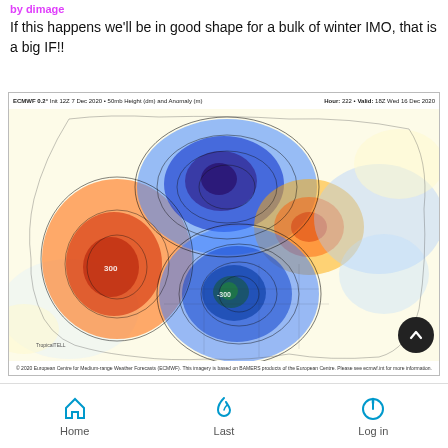by dimage
If this happens we'll be in good shape for a bulk of winter IMO, that is a big IF!!
[Figure (map): ECMWF 0.2° 50mb Height and Anomaly weather map for North America showing pressure anomaly patterns. Header: ECMWF 0.2° Init 12Z 7 Dec 2020 • 50mb Height (dm) and Anomaly (m). Right: Hour: 222 • Valid: 18Z Wed 16 Dec 2020. Color patterns show warm (red/orange) anomaly over western North America, a deep cold (dark blue/purple) trough over Canada, a warm (orange/red) anomaly near the northeastern US/Atlantic, and a cold (blue/green) anomaly over the central US/Mexico. Contour lines overlay the map. TropicalTELL logo bottom-left. Copyright ECMWF bottom center.]
Home  Last  Log in